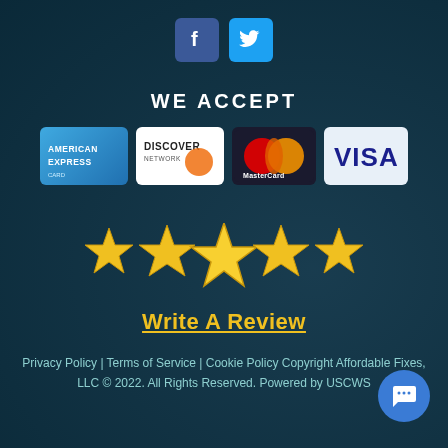[Figure (logo): Facebook and Twitter social media icons (blue rounded squares)]
WE ACCEPT
[Figure (illustration): Payment method logos: American Express, Discover Network, MasterCard, Visa]
[Figure (illustration): Five gold stars above Write A Review text]
Write A Review
Privacy Policy | Terms of Service | Cookie Policy Copyright Affordable Fixes, LLC © 2022. All Rights Reserved. Powered by USCWS